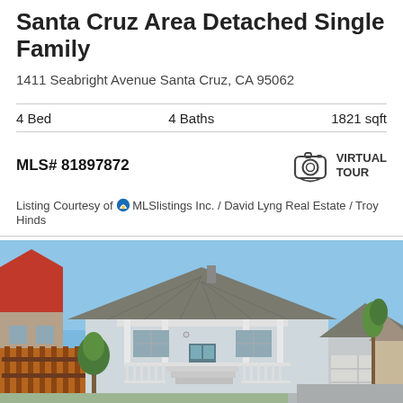Santa Cruz Area Detached Single Family
1411 Seabright Avenue Santa Cruz, CA 95062
4 Bed    4 Baths    1821 sqft
MLS# 81897872
VIRTUAL TOUR
Listing Courtesy of MLSlistings Inc. / David Lyng Real Estate / Troy Hinds
[Figure (photo): Exterior photo of a newly constructed single-family home in Santa Cruz. The house is light gray/white with a dark shingle roof. It has a covered front porch with white railings and steps, a blue-accented front door, and an attached garage on the right. A wooden fence is on the left side. Blue sky background with neighboring houses and trees visible.]